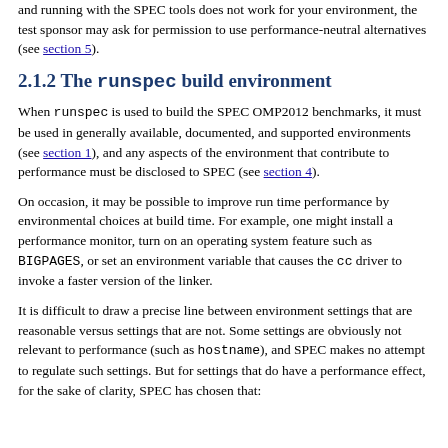and running with the SPEC tools does not work for your environment, the test sponsor may ask for permission to use performance-neutral alternatives (see section 5).
2.1.2 The runspec build environment
When runspec is used to build the SPEC OMP2012 benchmarks, it must be used in generally available, documented, and supported environments (see section 1), and any aspects of the environment that contribute to performance must be disclosed to SPEC (see section 4).
On occasion, it may be possible to improve run time performance by environmental choices at build time. For example, one might install a performance monitor, turn on an operating system feature such as BIGPAGES, or set an environment variable that causes the cc driver to invoke a faster version of the linker.
It is difficult to draw a precise line between environment settings that are reasonable versus settings that are not. Some settings are obviously not relevant to performance (such as hostname), and SPEC makes no attempt to regulate such settings. But for settings that do have a performance effect, for the sake of clarity, SPEC has chosen that: